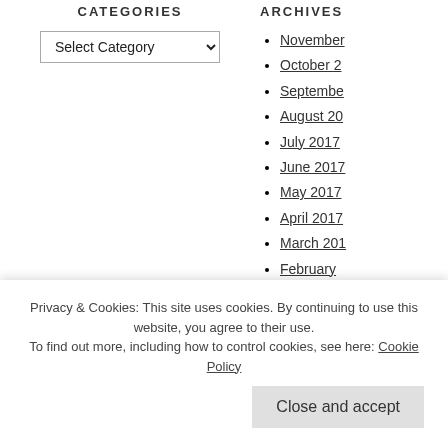CATEGORIES
Select Category
ARCHIVES
November
October 2
September
August 20
July 2017
June 2017
May 2017
April 2017
March 201
February
January 2
December
November
October 2
September
Privacy & Cookies: This site uses cookies. By continuing to use this website, you agree to their use.
To find out more, including how to control cookies, see here: Cookie Policy
Close and accept